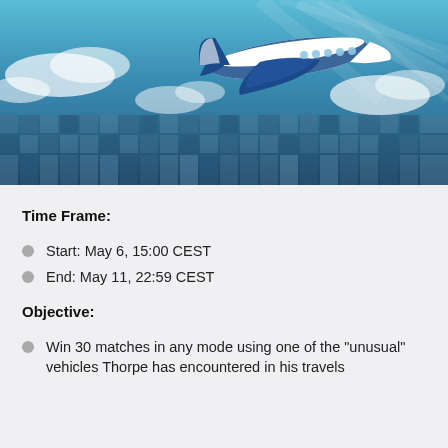[Figure (photo): A private jet / business aircraft flying above a digitally-rendered cityscape with clouds and blue tones]
Time Frame:
Start: May 6, 15:00 CEST
End: May 11, 22:59 CEST
Objective:
Win 30 matches in any mode using one of the "unusual" vehicles Thorpe has encountered in his travels